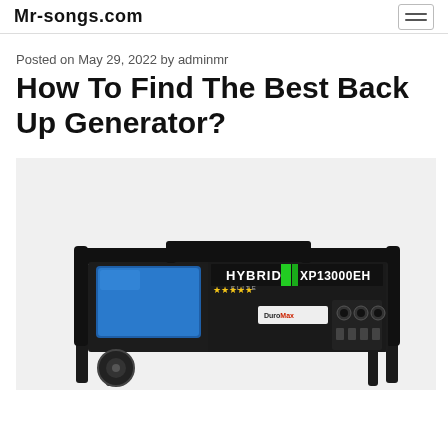Mr-songs.com
Posted on May 29, 2022 by adminmr
How To Find The Best Back Up Generator?
[Figure (photo): DuroMax Hybrid Elite XP13000EH portable generator, black with blue fuel tank and green accent stripe, shown from a 3/4 angle with control panel visible]